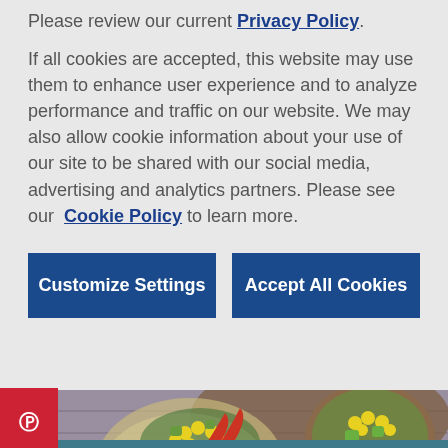Please review our current Privacy Policy.
If all cookies are accepted, this website may use them to enhance user experience and to analyze performance and traffic on our website. We may also allow cookie information about your use of our site to be shared with our social media, advertising and analytics partners. Please see our Cookie Policy to learn more.
Customize Settings
Accept All Cookies
[Figure (photo): Overhead food photo showing tacos/flatbread with corn, black bean and avocado salsa, red pepper slices, a bowl of salsa, and lime wedges on a wooden surface.]